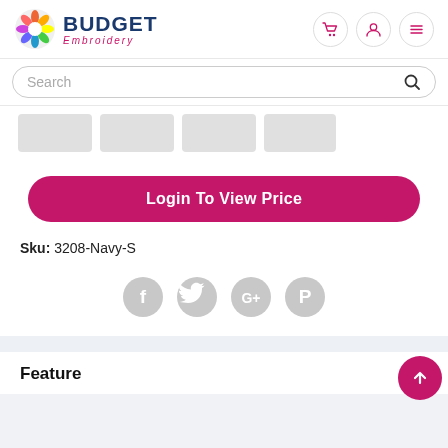Budget Embroidery
Search
[Figure (other): Four gray placeholder thumbnail rectangles in a row]
Login To View Price
Sku: 3208-Navy-S
[Figure (other): Social share icons: Facebook, Twitter, Google+, Pinterest — all gray circles]
Feature